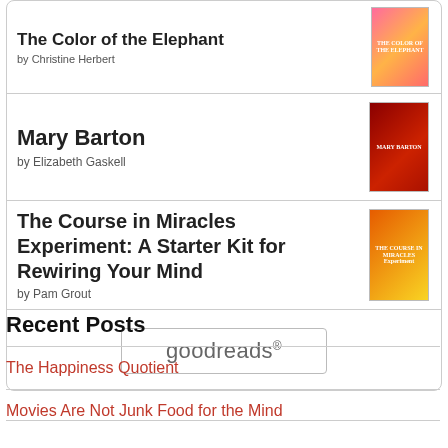The Color of the Elephant
by Christine Herbert
Mary Barton
by Elizabeth Gaskell
The Course in Miracles Experiment: A Starter Kit for Rewiring Your Mind
by Pam Grout
[Figure (logo): goodreads logo button with rounded border]
Recent Posts
The Happiness Quotient
Movies Are Not Junk Food for the Mind